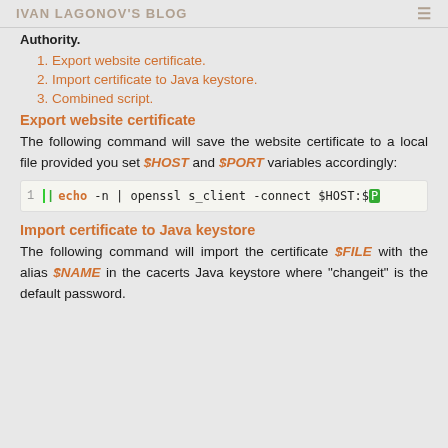IVAN LAGONOV'S BLOG
Authority.
1. Export website certificate.
2. Import certificate to Java keystore.
3. Combined script.
Export website certificate
The following command will save the website certificate to a local file provided you set $HOST and $PORT variables accordingly:
1  echo -n | openssl s_client -connect $HOST:$[...]
Import certificate to Java keystore
The following command will import the certificate $FILE with the alias $NAME in the cacerts Java keystore where "changeit" is the default password.